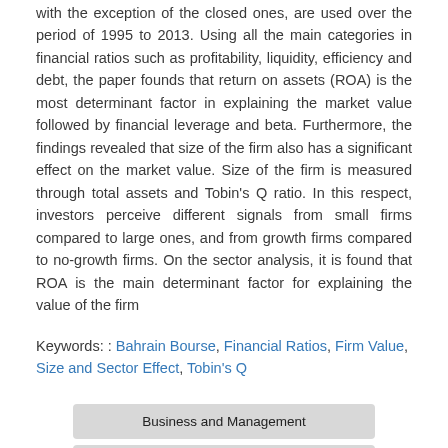with the exception of the closed ones, are used over the period of 1995 to 2013. Using all the main categories in financial ratios such as profitability, liquidity, efficiency and debt, the paper founds that return on assets (ROA) is the most determinant factor in explaining the market value followed by financial leverage and beta. Furthermore, the findings revealed that size of the firm also has a significant effect on the market value. Size of the firm is measured through total assets and Tobin's Q ratio. In this respect, investors perceive different signals from small firms compared to large ones, and from growth firms compared to no-growth firms. On the sector analysis, it is found that ROA is the main determinant factor for explaining the value of the firm
Keywords: : Bahrain Bourse, Financial Ratios, Firm Value, Size and Sector Effect, Tobin's Q
Business and Management
Education and Research Methods